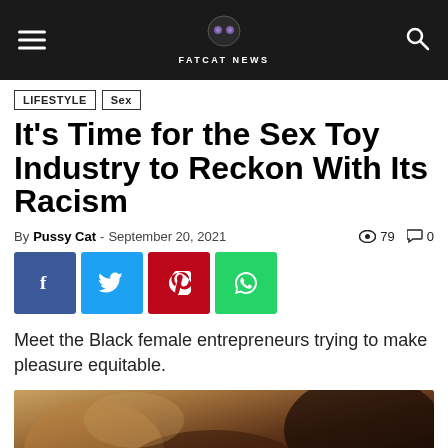FATCAT NEWS
LIFESTYLE
Sex
It's Time for the Sex Toy Industry to Reckon With Its Racism
By Pussy Cat - September 20, 2021  79  0
[Figure (other): Social sharing buttons: Facebook, Twitter, Pinterest, WhatsApp]
Meet the Black female entrepreneurs trying to make pleasure equitable.
[Figure (photo): Close-up photograph of dark-toned skin, showing tattooed arms/torso area with warm brown tones]